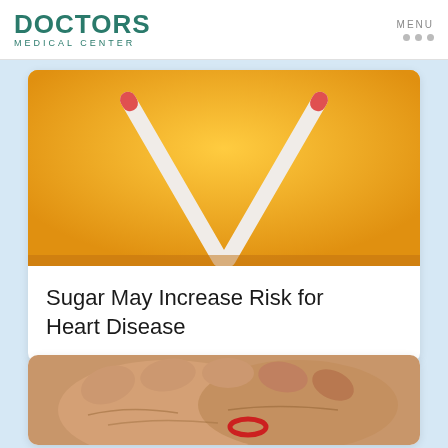DOCTORS MEDICAL CENTER
[Figure (photo): Yellow background with two crossed white candy canes or sticks with red tips on an orange/yellow surface]
Sugar May Increase Risk for Heart Disease
[Figure (photo): Close-up of two elderly hands holding each other, with a red rubber band or ring visible on one finger]